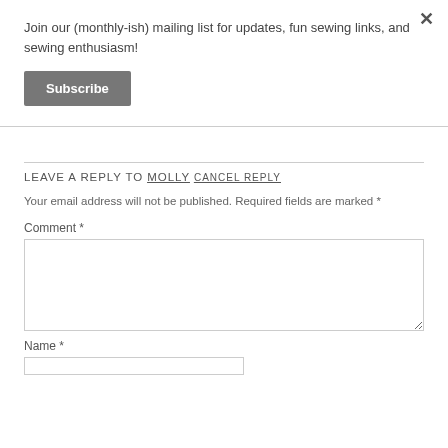Join our (monthly-ish) mailing list for updates, fun sewing links, and sewing enthusiasm!
Subscribe
LEAVE A REPLY TO MOLLY CANCEL REPLY
Your email address will not be published. Required fields are marked *
Comment *
Name *